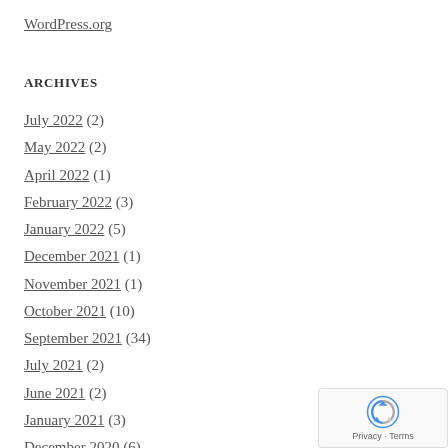WordPress.org
ARCHIVES
July 2022 (2)
May 2022 (2)
April 2022 (1)
February 2022 (3)
January 2022 (5)
December 2021 (1)
November 2021 (1)
October 2021 (10)
September 2021 (34)
July 2021 (2)
June 2021 (2)
January 2021 (3)
December 2020 (6)
November 2020 (2)